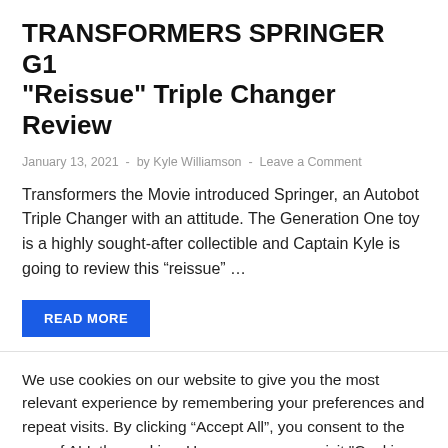TRANSFORMERS SPRINGER G1 "Reissue" Triple Changer Review
January 13, 2021  -  by Kyle Williamson  -  Leave a Comment
Transformers the Movie introduced Springer, an Autobot Triple Changer with an attitude. The Generation One toy is a highly sought-after collectible and Captain Kyle is going to review this “reissue” …
READ MORE
We use cookies on our website to give you the most relevant experience by remembering your preferences and repeat visits. By clicking “Accept All”, you consent to the use of ALL the cookies. However, you may visit "Cookie Settings" to provide a controlled consent.
Cookie Settings | Accept All